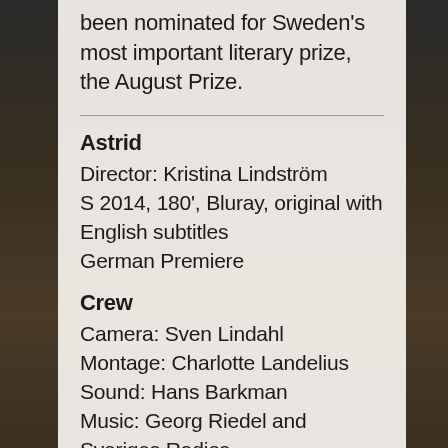been nominated for Sweden's most important literary prize, the August Prize.
Astrid
Director: Kristina Lindström
S 2014, 180', Bluray, original with English subtitles
German Premiere
Crew
Camera: Sven Lindahl
Montage: Charlotte Landelius
Sound: Hans Barkman
Music: Georg Riedel and Sveriges Radios Symfonieorkester; Siri Karlsson
Production: Sveriges Television